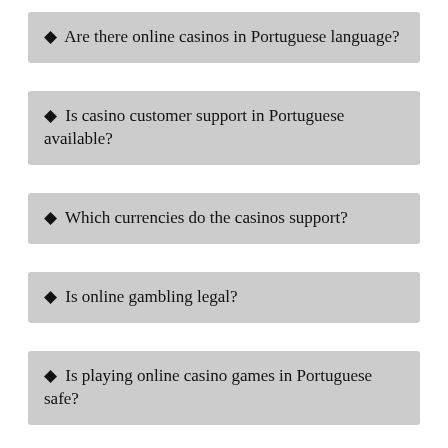♦ Are there online casinos in Portuguese language?
♦ Is casino customer support in Portuguese available?
♦ Which currencies do the casinos support?
♦ Is online gambling legal?
♦ Is playing online casino games in Portuguese safe?
♦ What types of payments are available for players